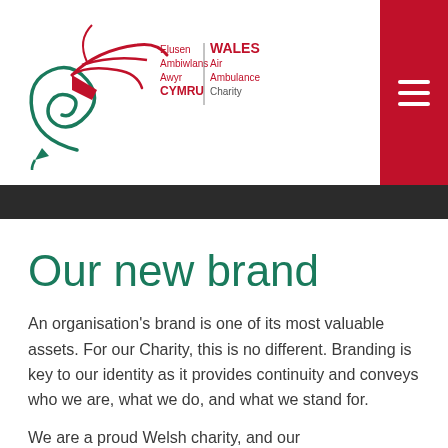Wales Air Ambulance Charity — Elusen Ambiwlans Awyr CYMRU | WALES Air Ambulance Charity
Our new brand
An organisation's brand is one of its most valuable assets. For our Charity, this is no different. Branding is key to our identity as it provides continuity and conveys who we are, what we do, and what we stand for.
We are a proud Welsh charity, and our